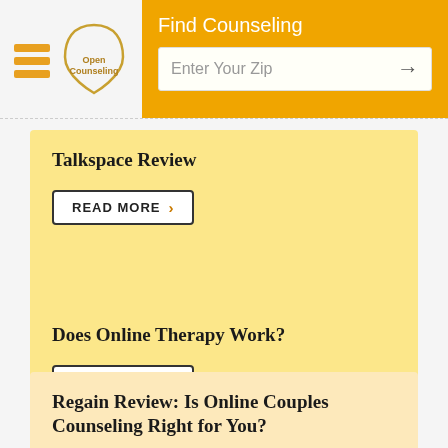Open Counseling — Find Counseling | Enter Your Zip
Talkspace Review
READ MORE
Does Online Therapy Work?
READ MORE
Regain Review: Is Online Couples Counseling Right for You?